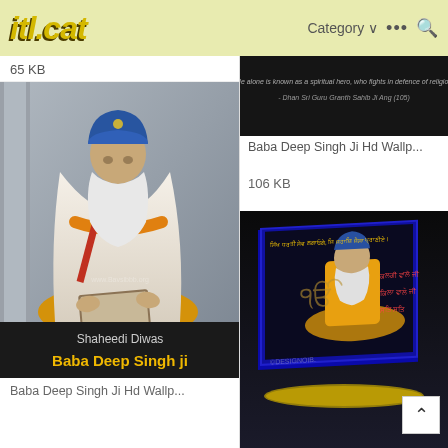itl.cat — Category ··· 🔍
65 KB
[Figure (photo): Painting of Baba Deep Singh Ji seated cross-legged reading scripture, wearing blue turban and white robe with orange sash. Text overlay: Shaheedi Diwas / Baba Deep Singh ji]
Baba Deep Singh Ji Hd Wallp...
[Figure (photo): Dark image with text: He alone is known as a spiritual hero, who fights in defence of religion - Dhan Sri Guru Granth Sahib Ji Ang (105)]
Baba Deep Singh Ji Hd Wallp...
106 KB
[Figure (photo): 3D display showing Baba Deep Singh Ji in orange robe seated reading scripture, with Punjabi text on blue framed screen, black background, DesignOib watermark]